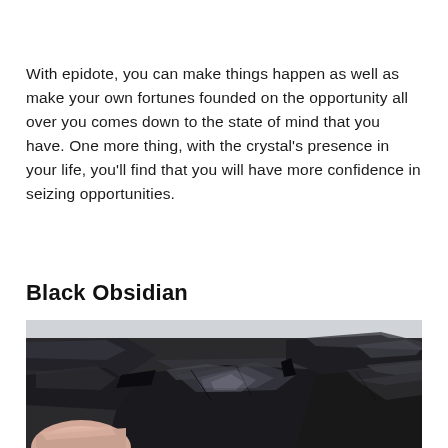With epidote, you can make things happen as well as make your own fortunes founded on the opportunity all over you comes down to the state of mind that you have. One more thing, with the crystal's presence in your life, you'll find that you will have more confidence in seizing opportunities.
Black Obsidian
[Figure (photo): Photo of multiple black obsidian rocks/stones, shiny and dark, with a human finger visible at the bottom left holding one of the pieces. The stones fill the entire frame with a light gray background visible at the top.]